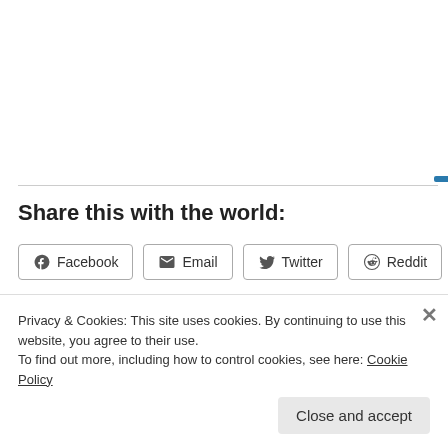Share this with the world:
[Figure (other): Four social share buttons: Facebook, Email, Twitter, Reddit]
Loading...
Privacy & Cookies: This site uses cookies. By continuing to use this website, you agree to their use.
To find out more, including how to control cookies, see here: Cookie Policy
Close and accept